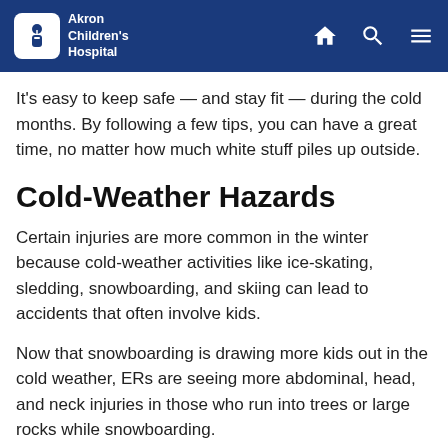Akron Children's Hospital
It's easy to keep safe — and stay fit — during the cold months. By following a few tips, you can have a great time, no matter how much white stuff piles up outside.
Cold-Weather Hazards
Certain injuries are more common in the winter because cold-weather activities like ice-skating, sledding, snowboarding, and skiing can lead to accidents that often involve kids.
Now that snowboarding is drawing more kids out in the cold weather, ERs are seeing more abdominal, head, and neck injuries in those who run into trees or large rocks while snowboarding.
And some illnesses are more common when the weather turns colder. Respiratory ailments, especially viruses like the flu, are prevalent because people stay indoors more and thus are exposed to more airborne germs.